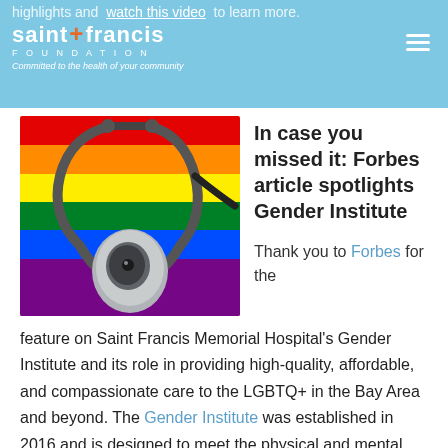highlights and watch this video to learn more. | Saint Francis Foundation — Committed to the health of your community
[Figure (photo): A stethoscope resting on a rainbow-striped fabric background, symbolizing LGBTQ+ healthcare.]
In case you missed it: Forbes article spotlights Gender Institute
Thank you to Forbes for the feature on Saint Francis Memorial Hospital's Gender Institute and its role in providing high-quality, affordable, and compassionate care to the LGBTQ+ in the Bay Area and beyond. The Gender Institute was established in 2016 and is designed to meet the physical and mental health needs of